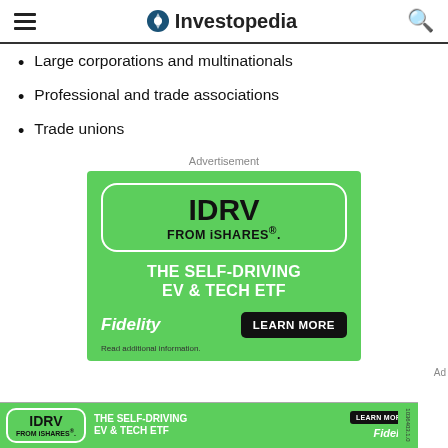Investopedia
Large corporations and multinationals
Professional and trade associations
Trade unions
Advertisement
[Figure (other): Fidelity iShares IDRV advertisement - green background with IDRV FROM iSHARES box, THE SELF-DRIVING EV & TECH ETF tagline, Fidelity logo, and LEARN MORE button]
[Figure (other): Bottom banner ad for IDRV FROM iSHARES - THE SELF-DRIVING EV & TECH ETF with LEARN MORE button and Fidelity logo]